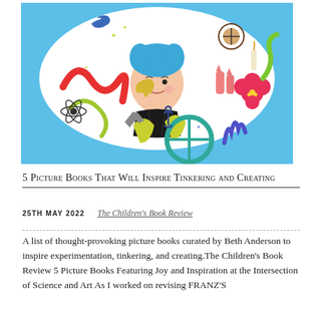[Figure (illustration): Colorful whimsical illustrated artwork on a light blue background featuring a cartoon character with blue hair surrounded by science and art objects including snakes, stars, a compass, a bird, cats, a flower, a candle, scientific symbols, and various decorative swirls.]
5 Picture Books That Will Inspire Tinkering and Creating
25TH MAY 2022   The Children's Book Review
A list of thought-provoking picture books curated by Beth Anderson to inspire experimentation, tinkering, and creating.The Children’s Book Review 5 Picture Books Featuring Joy and Inspiration at the Intersection of Science and Art As I worked on revising FRANZ’S